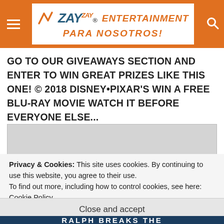ZayZay. ENTERTAINMENT PARA NOSOTROS!
GO TO OUR GIVEAWAYS SECTION AND ENTER TO WIN GREAT PRIZES LIKE THIS ONE! © 2018 Disney•Pixar's WIN A FREE BLU-RAy MOVIE WATCH IT BEFORE EVERYONE ELSE...
[Figure (photo): Gray placeholder image box]
Privacy & Cookies: This site uses cookies. By continuing to use this website, you agree to their use.
To find out more, including how to control cookies, see here: Cookie Policy
Close and accept
RALPH BREAKS THE